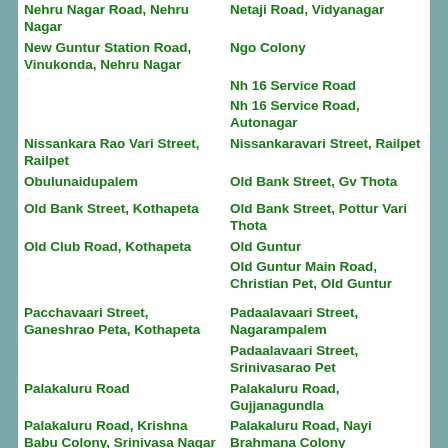| Nehru Nagar Road, Nehru Nagar | Netaji Road, Vidyanagar |
| New Guntur Station Road, Vinukonda, Nehru Nagar | Ngo Colony |
|  | Nh 16 Service Road |
|  | Nh 16 Service Road, Autonagar |
| Nissankara Rao Vari Street, Railpet | Nissankaravari Street, Railpet |
| Obulunaidupalem | Old Bank Street, Gv Thota |
| Old Bank Street, Kothapeta | Old Bank Street, Pottur Vari Thota |
| Old Club Road, Kothapeta | Old Guntur |
|  | Old Guntur Main Road, Christian Pet, Old Guntur |
| Pacchavaari Street, Ganeshrao Peta, Kothapeta | Padaalavaari Street, Nagarampalem |
|  | Padaalavaari Street, Srinivasarao Pet |
| Palakaluru Road | Palakaluru Road, Gujjanagundla |
| Palakaluru Road, Krishna Babu Colony, Srinivasa Nagar Colony | Palakaluru Road, Nayi Brahmana Colony |
|  | Palakaluru Road, Ratnagiri Nagar |
| Palakaluru Road, Srinivasa Nagar Colony | Palakaluru Road, Svn Colony |
| Pandari Puram, Pandaripuram, Brodipet | Panduranga Nagar |
|  | Park Road, Ashok Nagar |
| Park Road, Krishna Nagar | Pathareddypalem, Old |